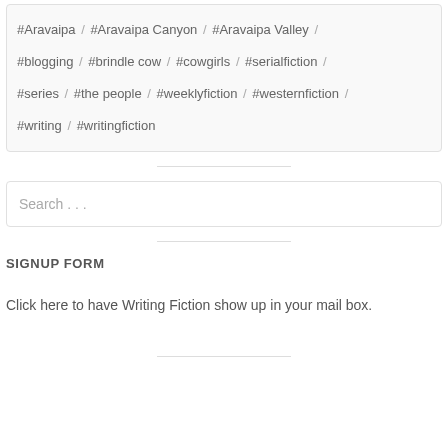#Aravaipa / #Aravaipa Canyon / #Aravaipa Valley / #blogging / #brindle cow / #cowgirls / #serialfiction / #series / #the people / #weeklyfiction / #westernfiction / #writing / #writingfiction
Search . . .
SIGNUP FORM
Click here to have Writing Fiction show up in your mail box.